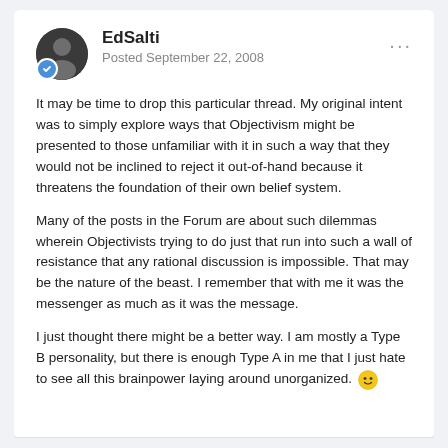EdSalti — Posted September 22, 2008
It may be time to drop this particular thread. My original intent was to simply explore ways that Objectivism might be presented to those unfamiliar with it in such a way that they would not be inclined to reject it out-of-hand because it threatens the foundation of their own belief system.
Many of the posts in the Forum are about such dilemmas wherein Objectivists trying to do just that run into such a wall of resistance that any rational discussion is impossible. That may be the nature of the beast. I remember that with me it was the messenger as much as it was the message.
I just thought there might be a better way. I am mostly a Type B personality, but there is enough Type A in me that I just hate to see all this brainpower laying around unorganized. 😎